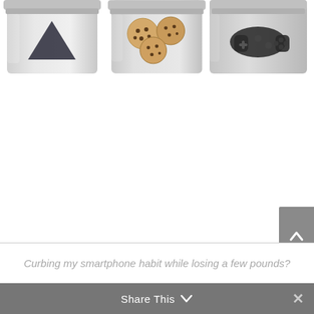[Figure (photo): Three cylindrical glass/metal jars or canisters partially cropped at top of page. Left jar contains a dark triangular shape (possibly a chip or candy), middle jar contains cookies or biscuits, right jar contains a dark game controller or similar item.]
Curbing my smartphone habit while losing a few pounds?
Share This ∨ ×